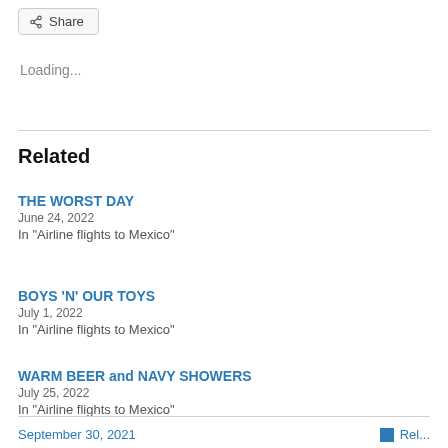Share
Loading...
Related
THE WORST DAY
June 24, 2022
In "Airline flights to Mexico"
BOYS 'N' OUR TOYS
July 1, 2022
In "Airline flights to Mexico"
WARM BEER and NAVY SHOWERS
July 25, 2022
In "Airline flights to Mexico"
September 30, 2021